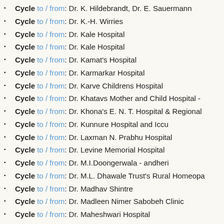Cycle to / from: Dr. K. Hildebrandt, Dr. E. Sauermann
Cycle to / from: Dr. K.-H. Wirries
Cycle to / from: Dr. Kale Hospital
Cycle to / from: Dr. Kale Hospital
Cycle to / from: Dr. Kamat's Hospital
Cycle to / from: Dr. Karmarkar Hospital
Cycle to / from: Dr. Karve Childrens Hospital
Cycle to / from: Dr. Khatavs Mother and Child Hospital -
Cycle to / from: Dr. Khona's E. N. T. Hospital & Regional
Cycle to / from: Dr. Kunnure Hospital and Iccu
Cycle to / from: Dr. Laxman N. Prabhu Hospital
Cycle to / from: Dr. Levine Memorial Hospital
Cycle to / from: Dr. M.I.Doongerwala - andheri
Cycle to / from: Dr. M.L. Dhawale Trust's Rural Homeopa
Cycle to / from: Dr. Madhav Shintre
Cycle to / from: Dr. Madleen Nimer Sabobeh Clinic
Cycle to / from: Dr. Maheshwari Hospital
Cycle to / from: Dr. Mainkar Hospital
Cycle to / from: Dr. Mane's Dental Clinic
Cycle to / from: Dr. Masurkar Hospital